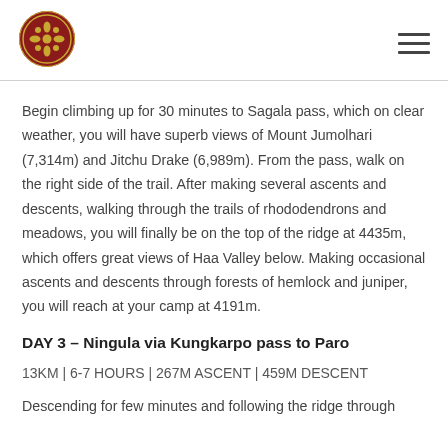[Figure (logo): Circular dark red logo with golden emblem, organization badge]
Begin climbing up for 30 minutes to Sagala pass, which on clear weather, you will have superb views of Mount Jumolhari (7,314m) and Jitchu Drake (6,989m). From the pass, walk on the right side of the trail. After making several ascents and descents, walking through the trails of rhododendrons and meadows, you will finally be on the top of the ridge at 4435m, which offers great views of Haa Valley below. Making occasional ascents and descents through forests of hemlock and juniper, you will reach at your camp at 4191m.
DAY 3 – Ningula via Kungkarpo pass to Paro
13KM | 6-7 HOURS | 267M ASCENT | 459M DESCENT
Descending for few minutes and following the ridge through